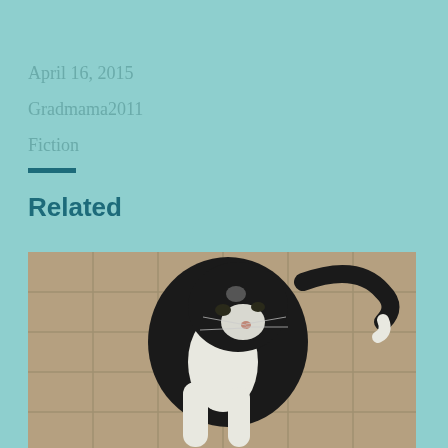April 16, 2015
Gradmama2011
Fiction
Related
[Figure (photo): A black and white tuxedo cat viewed from above, sitting on a beige tile floor, looking downward with its head slightly turned]